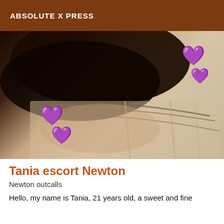ABSOLUTE X PRESS
[Figure (photo): Close-up photo of a person lying down with dark hair visible, with purple heart emojis overlaid on the image. The background shows light-colored bedding or surface with dark tones at the top.]
Tania escort Newton
Newton outcalls
Hello, my name is Tania, 21 years old, a sweet and fine